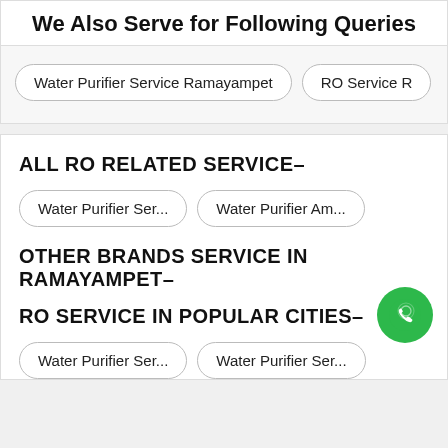We Also Serve for Following Queries
Water Purifier Service Ramayampet
RO Service R
ALL RO RELATED SERVICE-
Water Purifier Ser...
Water Purifier Am...
OTHER BRANDS SERVICE IN RAMAYAMPET-
RO SERVICE IN POPULAR CITIES-
Water Purifier Ser...
Water Purifier Ser...